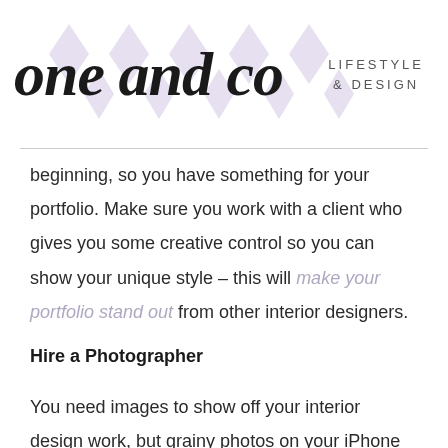[Figure (logo): one and co LIFESTYLE & DESIGN logo with script text and light purple diamond shapes in background]
beginning, so you have something for your portfolio. Make sure you work with a client who gives you some creative control so you can show your unique style – this will make your portfolio stand out from other interior designers.
Hire a Photographer
You need images to show off your interior design work, but grainy photos on your iPhone camera